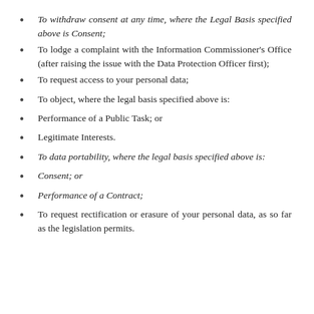To withdraw consent at any time, where the Legal Basis specified above is Consent;
To lodge a complaint with the Information Commissioner's Office (after raising the issue with the Data Protection Officer first);
To request access to your personal data;
To object, where the legal basis specified above is:
Performance of a Public Task; or
Legitimate Interests.
To data portability, where the legal basis specified above is:
Consent; or
Performance of a Contract;
To request rectification or erasure of your personal data, as so far as the legislation permits.